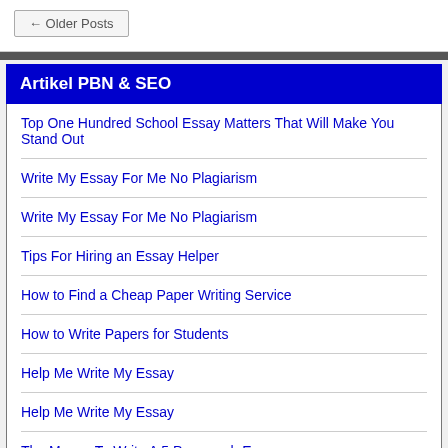← Older Posts
Artikel PBN & SEO
Top One Hundred School Essay Matters That Will Make You Stand Out
Write My Essay For Me No Plagiarism
Write My Essay For Me No Plagiarism
Tips For Hiring an Essay Helper
How to Find a Cheap Paper Writing Service
How to Write Papers for Students
Help Me Write My Essay
Help Me Write My Essay
The Means To Write A 5 Paragraph Essay
Categories